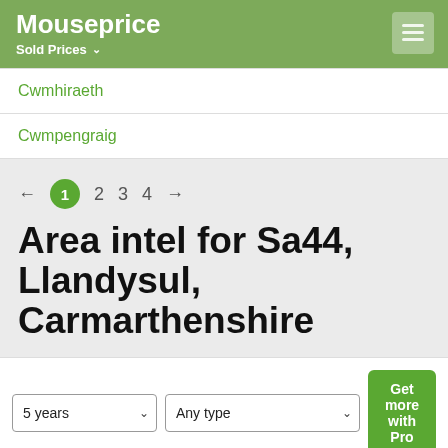Mouseprice – Sold Prices
Cwmhiraeth
Cwmpengraig
← 1 2 3 4 →
Area intel for Sa44, Llandysul, Carmarthenshire
5 years   Any type   Get more with Pro
Save Up to 65% Leesburg Premium Outlets   £240,000